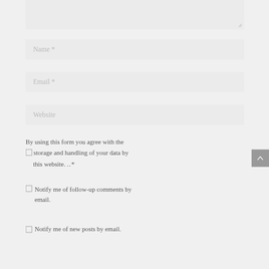[Figure (screenshot): Partial textarea input field (top portion cut off) with resize handle in bottom-right corner]
Name *
Email *
Website
By using this form you agree with the storage and handling of your data by this website. *
Notify me of follow-up comments by email.
Notify me of new posts by email.